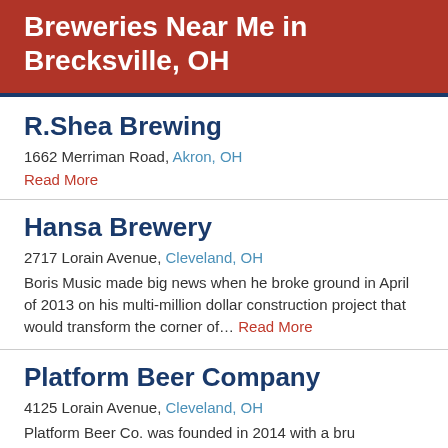Breweries Near Me in Brecksville, OH
R.Shea Brewing
1662 Merriman Road, Akron, OH
Read More
Hansa Brewery
2717 Lorain Avenue, Cleveland, OH
Boris Music made big news when he broke ground in April of 2013 on his multi-million dollar construction project that would transform the corner of… Read More
Platform Beer Company
4125 Lorain Avenue, Cleveland, OH
Platform Beer Co. was founded in 2014 with a bru